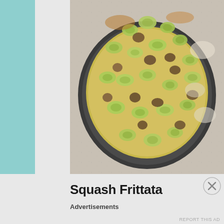[Figure (photo): Overhead view of a Squash Frittata in a dark round pan on a speckled granite countertop. The frittata is topped with sliced yellow squash rounds and browned mushrooms or sausage pieces.]
Squash Frittata
Advertisements